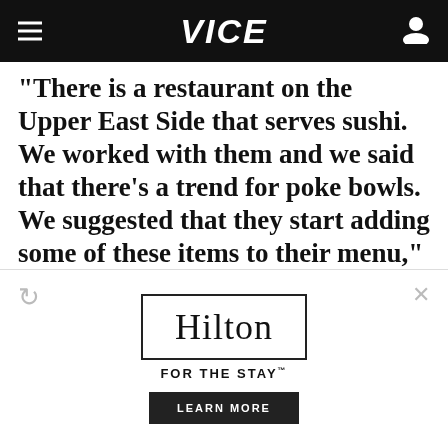VICE
“There is a restaurant on the Upper East Side that serves sushi. We worked with them and we said that there’s a trend for poke bowls. We suggested that they start adding some of these items to their menu,” Grubhub senior vice president Kevin Kearns said at the hearing. “They did this and within one month, they doubled their orders, and within three months they 7x’ed their orders to 1,600 orders a month.
[Figure (other): Hilton advertisement banner with logo, tagline FOR THE STAY, and LEARN MORE button]